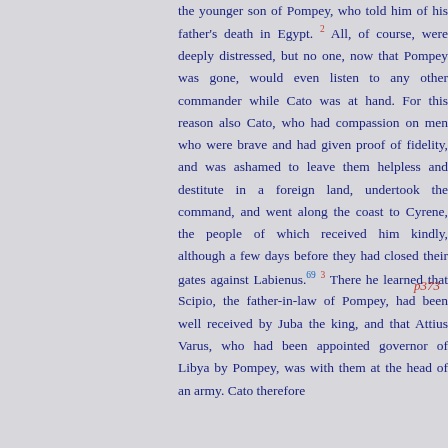the younger son of Pompey, who told him of his father's death in Egypt. 2 All, of course, were deeply distressed, but no one, now that Pompey was gone, would even listen to any other commander while Cato was at hand. For this reason also Cato, who had compassion on men who were brave and had given proof of fidelity, and was ashamed to leave them helpless and destitute in a foreign land, undertook the command, and went along the coast to Cyrene, the people of which received him kindly, although a few days before they had closed their gates against Labienus. 69 3 There he learned that Scipio, the father-in-law of Pompey, had been well received by Juba the king, and that Attius Varus, who had been appointed governor of Libya by Pompey, was with them at the head of an army. Cato therefore
p373